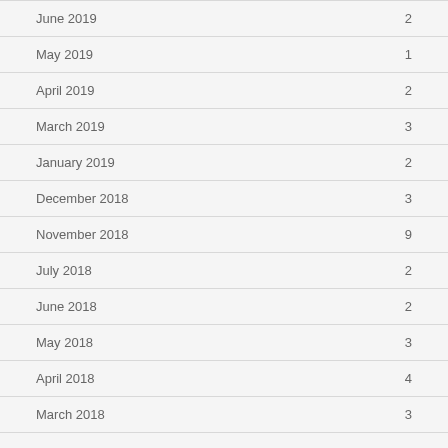June 2019  2
May 2019  1
April 2019  2
March 2019  3
January 2019  2
December 2018  3
November 2018  9
July 2018  2
June 2018  2
May 2018  3
April 2018  4
March 2018  3